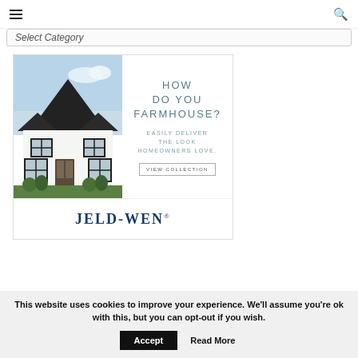≡  [search icon]
Select Category
[Figure (illustration): JELD-WEN advertisement featuring a white farmhouse with black-trim windows and dark roof on the left side, and promotional text on the right reading 'HOW DO YOU FARMHOUSE? EASILY DELIVER THE LOOK HOMEOWNERS LOVE.' with a 'VIEW COLLECTION' button and JELD-WEN logo at the bottom.]
This website uses cookies to improve your experience. We'll assume you're ok with this, but you can opt-out if you wish.
Accept
Read More